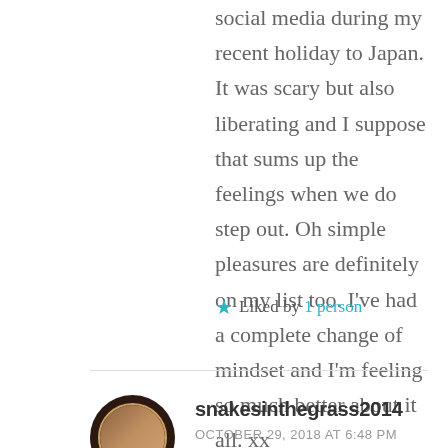social media during my recent holiday to Japan. It was scary but also liberating and I suppose that sums up the feelings when we do step out. Oh simple pleasures are definitely on my list too. I've had a complete change of mindset and I'm feeling so much better about it all. xx
★ Liked by 1 person
snakesinthegrass2014
OCTOBER 29, 2018 AT 6:48 PM
Kudos to you. In theory I think scooters (and motorcycles too) are fun to try. In practice, I